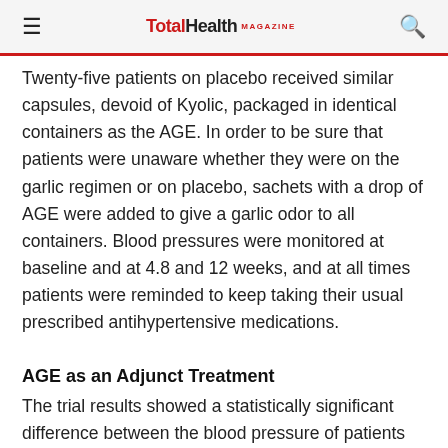TotalHealth MAGAZINE
Twenty-five patients on placebo received similar capsules, devoid of Kyolic, packaged in identical containers as the AGE. In order to be sure that patients were unaware whether they were on the garlic regimen or on placebo, sachets with a drop of AGE were added to give a garlic odor to all containers. Blood pressures were monitored at baseline and at 4.8 and 12 weeks, and at all times patients were reminded to keep taking their usual prescribed antihypertensive medications.
AGE as an Adjunct Treatment
The trial results showed a statistically significant difference between the blood pressure of patients on AGE and those on placebo. In patients with uncontrolled hypertension (systolic blood pressure